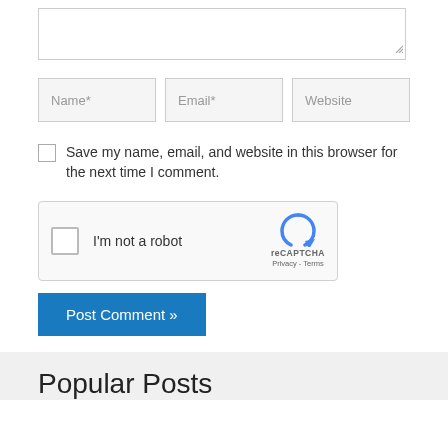[Figure (screenshot): Comment form textarea input box with resize handle in the bottom right corner]
[Figure (screenshot): Form input fields row: Name*, Email*, Website]
Save my name, email, and website in this browser for the next time I comment.
[Figure (screenshot): reCAPTCHA widget with checkbox 'I'm not a robot' and reCAPTCHA logo with Privacy and Terms links]
[Figure (screenshot): Post Comment » button in blue]
Popular Posts